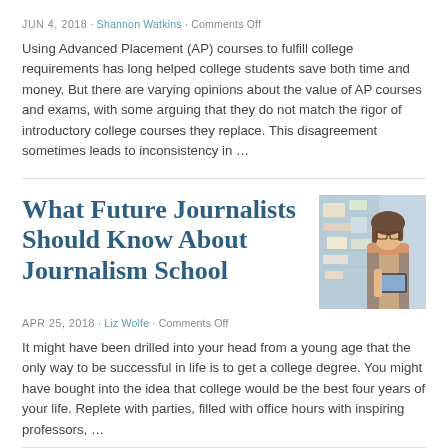JUN 4, 2018 · Shannon Watkins · Comments Off
Using Advanced Placement (AP) courses to fulfill college requirements has long helped college students save both time and money. But there are varying opinions about the value of AP courses and exams, with some arguing that they do not match the rigor of introductory college courses they replace. This disagreement sometimes leads to inconsistency in …
What Future Journalists Should Know About Journalism School
[Figure (photo): Photo of a young woman with glasses holding a tablet, standing in front of a board with notes]
APR 25, 2018 · Liz Wolfe · Comments Off
It might have been drilled into your head from a young age that the only way to be successful in life is to get a college degree. You might have bought into the idea that college would be the best four years of your life. Replete with parties, filled with office hours with inspiring professors, …